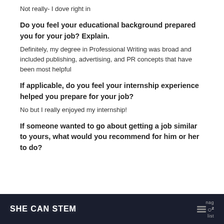Not really- I dove right in
Do you feel your educational background prepared you for your job? Explain.
Definitely, my degree in Professional Writing was broad and included publishing, advertising, and PR concepts that have been most helpful
If applicable, do you feel your internship experience helped you prepare for your job?
No but I really enjoyed my internship!
If someone wanted to go about getting a job similar to yours, what would you recommend for him or her to do?
SHE CAN STEM